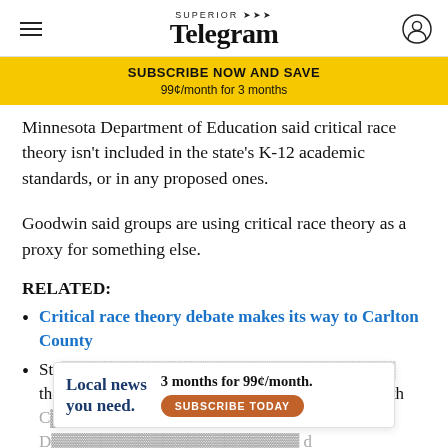Superior Telegram
SUBSCRIBE NOW AND SAVE
99¢/month for 3 months
Minnesota Department of Education said critical race theory isn't included in the state's K-12 academic standards, or in any proposed ones.
Goodwin said groups are using critical race theory as a proxy for something else.
RELATED:
Critical race theory debate makes its way to Carlton County
Sta... the... h 8th
Local news you need. 3 months for 99¢/month. SUBSCRIBE TODAY